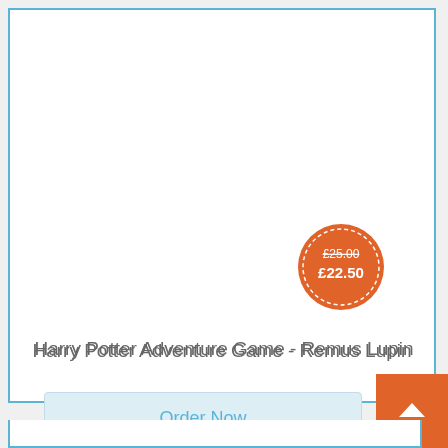[Figure (other): Product listing card with price badge showing £25.00 strikethrough and £22.50 sale price, product title, Order Now button, cart icon button, and wishlist heart button]
£25.00 £22.50
Harry Potter Adventure Game - Remus Lupin
Order Now